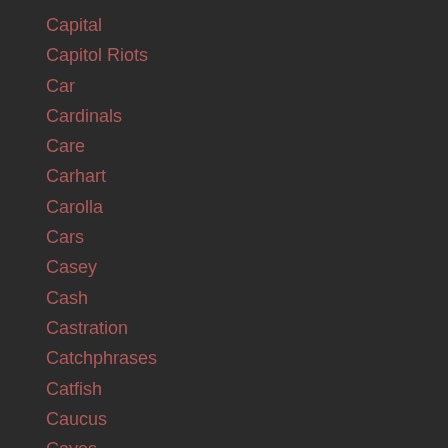Capital
Capitol Riots
Car
Cardinals
Care
Carhart
Carolla
Cars
Casey
Cash
Castration
Catchphrases
Catfish
Caucus
Caves
Cbg
Cbs
Cbs Affiliate
Cbs Radio
Cecil